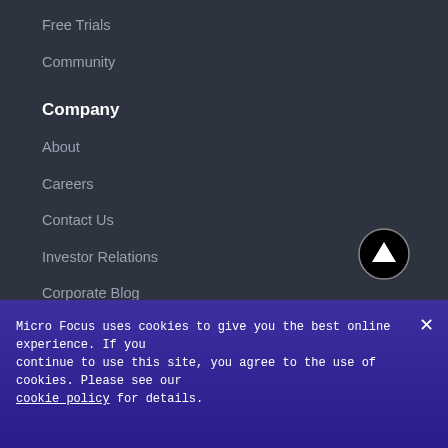Free Trials
Community
Company
About
Careers
Contact Us
Investor Relations
Corporate Blog
[Figure (illustration): Back to top button — black circle with white upward arrow]
Legal & Compliance
Privacy Policy
Terms of Use
Micro Focus uses cookies to give you the best online experience. If you continue to use this site, you agree to the use of cookies. Please see our cookie policy for details.